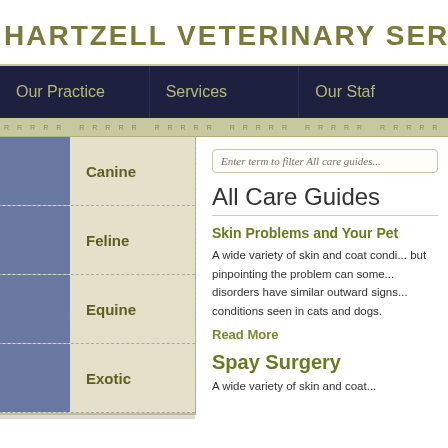HARTZELL VETERINARY SERVICE
Our Practice | Services | Our Staff
Canine
Feline
Equine
Exotic
Enter term to filter All care guides...
All Care Guides
Skin Problems and Your Pet
A wide variety of skin and coat conditions affect pets but pinpointing the problem can sometimes be difficult because disorders have similar outward signs... conditions seen in cats and dogs.
Read More
Spay Surgery
A wide variety of skin and coat...